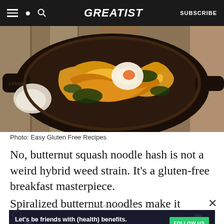GREATIST | SUBSCRIBE
[Figure (photo): Overhead photo of a cast iron skillet with spiralized butternut squash noodles and a poached egg on a wooden surface]
Photo: Easy Gluten Free Recipes
No, butternut squash noodle hash is not a weird hybrid weed strain. It's a gluten-free breakfast masterpiece.
Spiralized butternut noodles make it easy to feel
[Figure (other): Advertisement banner: Let's be friends with (health) benefits. Follow GREATIST on Instagram. FOLLOW US button.]